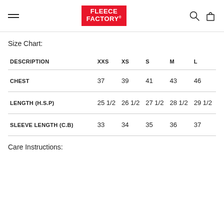Fleece Factory — Navigation header with logo, search, and bag icons
Size Chart:
| DESCRIPTION | XXS | XS | S | M | L |
| --- | --- | --- | --- | --- | --- |
| CHEST | 37 | 39 | 41 | 43 | 46 |
| LENGTH (H.S.P) | 25 1/2 | 26 1/2 | 27 1/2 | 28 1/2 | 29 1/2 |
| SLEEVE LENGTH (C.B) | 33 | 34 | 35 | 36 | 37 |
Care Instructions: